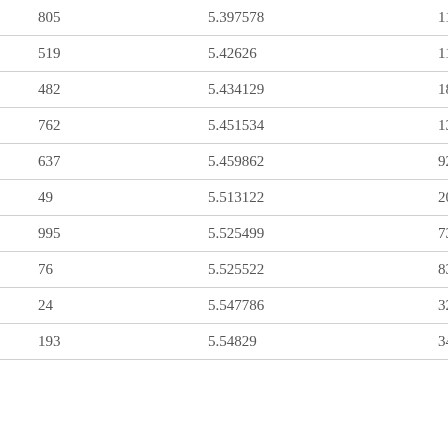| 805 | 5.397578 | 118.5848 |
| 519 | 5.42626 | 110.3701 |
| 482 | 5.434129 | 183.0214 |
| 762 | 5.451534 | 130.8368 |
| 637 | 5.459862 | 92.70845 |
| 49 | 5.513122 | 200.1815 |
| 995 | 5.525499 | 73.93118 |
| 76 | 5.525522 | 83.32487 |
| 24 | 5.547786 | 32.45455 |
| 193 | 5.54829 | 34.51037 |